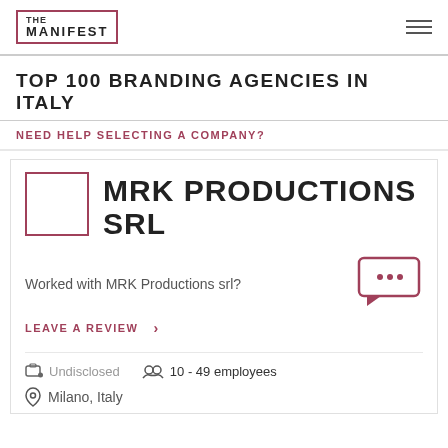THE MANIFEST
TOP 100 BRANDING AGENCIES IN ITALY
NEED HELP SELECTING A COMPANY?
MRK PRODUCTIONS SRL
Worked with MRK Productions srl?
LEAVE A REVIEW >
Undisclosed
10 - 49 employees
Milano, Italy